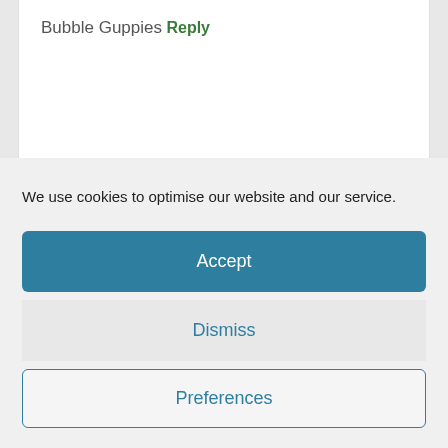Bubble Guppies
Reply
Lyla says
6th September 2016 at 7:22 pm
We use cookies to optimise our website and our service.
Accept
Dismiss
Preferences